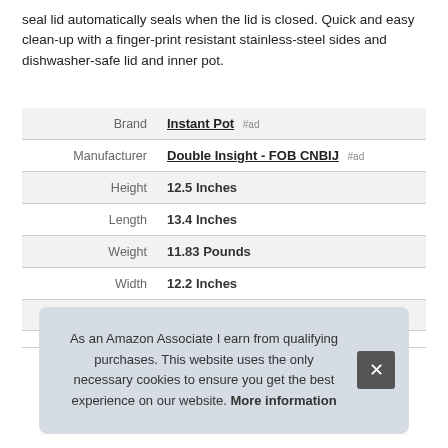seal lid automatically seals when the lid is closed. Quick and easy clean-up with a finger-print resistant stainless-steel sides and dishwasher-safe lid and inner pot.
|  |  |
| --- | --- |
| Brand | Instant Pot #ad |
| Manufacturer | Double Insight - FOB CNBIJ #ad |
| Height | 12.5 Inches |
| Length | 13.4 Inches |
| Weight | 11.83 Pounds |
| Width | 12.2 Inches |
| P |  |
As an Amazon Associate I earn from qualifying purchases. This website uses the only necessary cookies to ensure you get the best experience on our website. More information